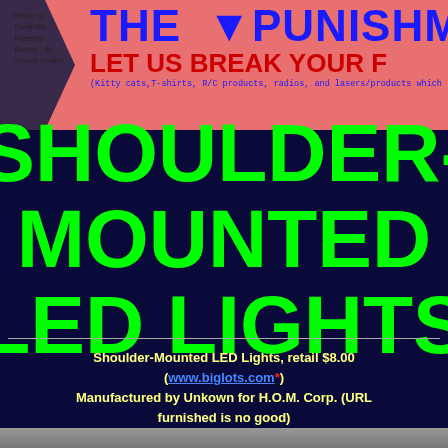THE PUNISHMENT — LET US BREAK YOUR F(LASHLIGHT) — (Kitty cats, T-shirts, R/C products, radios, and lasers/products which... Testing for: Durability, Intensity, Battery Life, Overall Quality
SHOULDER-MOUNTED LED LIGHTS
Shoulder-Mounted LED Lights, retail $8.00 (www.biglots.com*) Manufactured by Unkown for H.O.M. Corp. (URL furnished is no good) Last updated 06-03-09